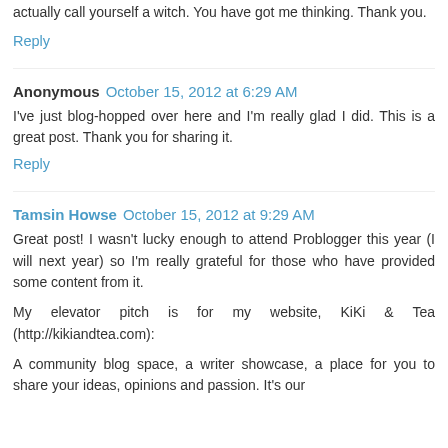actually call yourself a witch. You have got me thinking. Thank you.
Reply
Anonymous   October 15, 2012 at 6:29 AM
I've just blog-hopped over here and I'm really glad I did. This is a great post. Thank you for sharing it.
Reply
Tamsin Howse   October 15, 2012 at 9:29 AM
Great post! I wasn't lucky enough to attend Problogger this year (I will next year) so I'm really grateful for those who have provided some content from it.
My elevator pitch is for my website, KiKi & Tea (http://kikiandtea.com):
A community blog space, a writer showcase, a place for you to share your ideas, opinions and passion. It's our